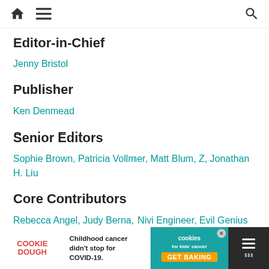navigation bar with home, menu, and search icons
Editor-in-Chief
Jenny Bristol
Publisher
Ken Denmead
Senior Editors
Sophie Brown, Patricia Vollmer, Matt Blum, Z, Jonathan H. Liu
Core Contributors
Rebecca Angel, Judy Berna, Nivi Engineer, Evil Genius Mum, Marziah Karch, M.J. Kaufmann, Elizabeth MacAndrew, Melanie Meadors, Kali Moulton, Sarah Pinault, Cathé Post, Ruth Suehle, Tate...
[Figure (infographic): Cookie Dough advertisement banner: Childhood cancer didn't stop for COVID-19. Cookies for kids' cancer. GET BAKING.]